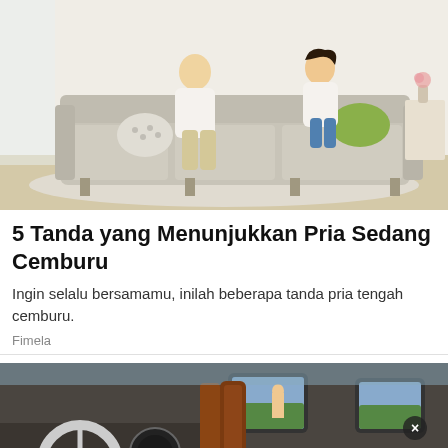[Figure (photo): Two people, a man and a woman, sitting on a light grey sofa in a bright living room, appearing to have a conversation.]
5 Tanda yang Menunjukkan Pria Sedang Cemburu
Ingin selalu bersamamu, inilah beberapa tanda pria tengah cemburu.
Fimela
[Figure (photo): Interior of a luxury car showing the dashboard, steering wheel, and rear-seat entertainment screens with a person visible outside.]